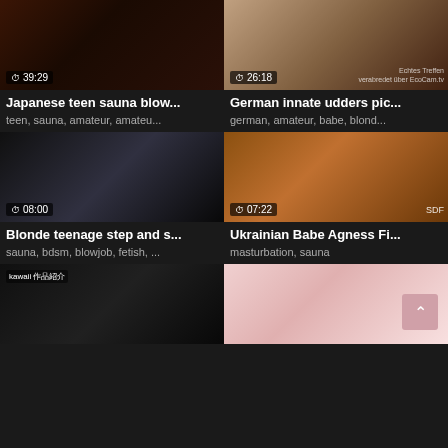[Figure (screenshot): Video thumbnail grid with 6 video cards in 2-column layout showing video titles, durations, and tags]
Japanese teen sauna blow...
teen, sauna, amateur, amateu...
German innate udders pic...
german, amateur, babe, blond...
Blonde teenage step and s...
sauna, bdsm, blowjob, fetish, ...
Ukrainian Babe Agness Fi...
masturbation, sauna